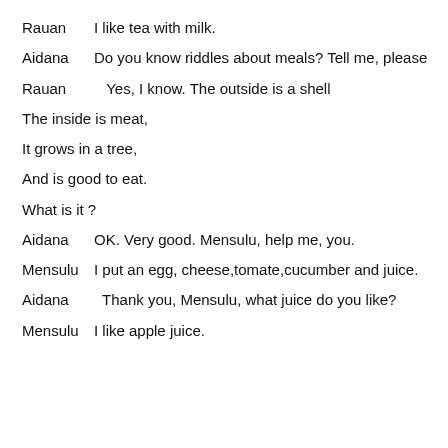Rauan    I like tea with milk.
Aidana    Do you know riddles about meals? Tell me, please
Rauan      Yes, I know. The outside is a shell
The inside is meat,
It grows in a tree,
And is good to eat.
What is it ?
Aidana    OK. Very good. Mensulu, help me, you.
Mensulu    I put an egg, cheese,tomate,cucumber and juice.
Aidana      Thank you, Mensulu, what juice do you like?
Mensulu    I like apple juice.